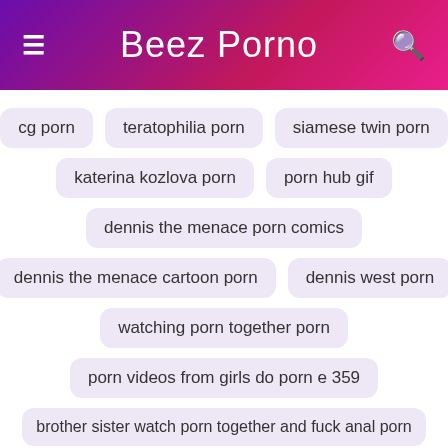Beez Porno
cg porn
teratophilia porn
siamese twin porn
katerina kozlova porn
porn hub gif
dennis the menace porn comics
dennis the menace cartoon porn
dennis west porn
watching porn together porn
porn videos from girls do porn e 359
brother sister watch porn together and fuck anal porn
porn with a perverted mother next to her sleeping husband free porn video
nugget porn
porn hu
porn hud